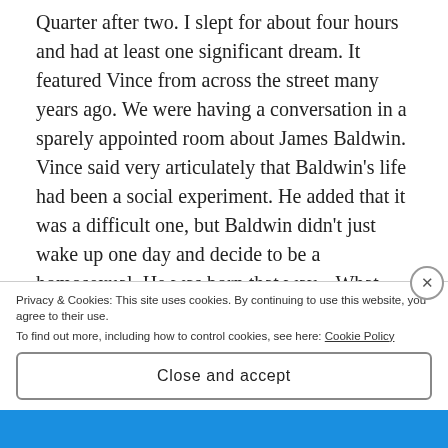Quarter after two. I slept for about four hours and had at least one significant dream. It featured Vince from across the street many years ago. We were having a conversation in a sparely appointed room about James Baldwin. Vince said very articulately that Baldwin's life had been a social experiment. He added that it was a difficult one, but Baldwin didn't just wake up one day and decide to be a homosexual. He was born that way... What Vince was saying so intelligently could not have been voiced by the wife he divorced long ago. Although, his daughter Victoria is studying to be a therapist, or will be someday. I
Privacy & Cookies: This site uses cookies. By continuing to use this website, you agree to their use.
To find out more, including how to control cookies, see here: Cookie Policy
Close and accept